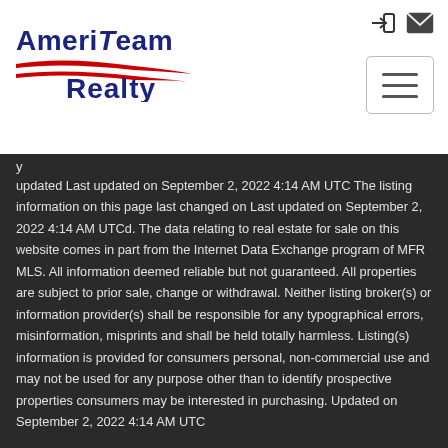[Figure (logo): AmeriTeam Realty logo with American flag swoosh graphic in red, white, blue and navy text]
updated Last updated on September 2, 2022 4:14 AM UTC The listing information on this page last changed on Last updated on September 2, 2022 4:14 AM UTCd. The data relating to real estate for sale on this website comes in part from the Internet Data Exchange program of MFR MLS. All information deemed reliable but not guaranteed. All properties are subject to prior sale, change or withdrawal. Neither listing broker(s) or information provider(s) shall be responsible for any typographical errors, misinformation, misprints and shall be held totally harmless. Listing(s) information is provided for consumers personal, non-commercial use and may not be used for any purpose other than to identify prospective properties consumers may be interested in purchasing. Updated on September 2, 2022 4:14 AM UTC